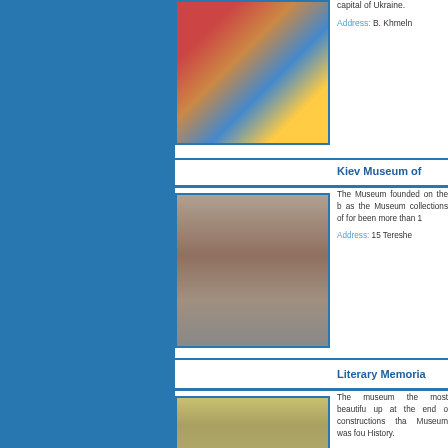[Figure (photo): Mosaic or icon artwork depicting a religious figure]
capital of Ukraine.
Address: B. Khmeln
Kiev Museum of
[Figure (photo): Exterior of a historic building with arched windows and balustrade]
The Museum founded on the b as the Museum collections of for been more than 1
Address: 15 Tereshe
Literary Memoria
[Figure (photo): Exterior of a classical building facade]
The museum the most beautifu up at the end o constructions tha Museum was fou History.